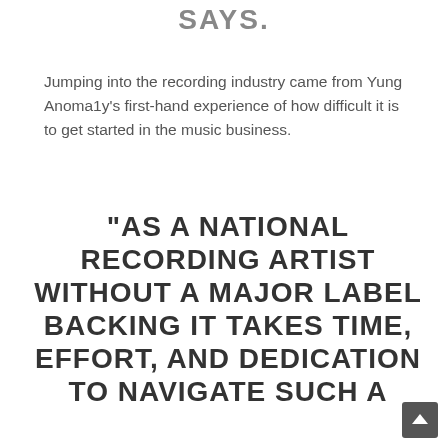SAYS.
Jumping into the recording industry came from Yung Anoma1y's first-hand experience of how difficult it is to get started in the music business.
“AS A NATIONAL RECORDING ARTIST WITHOUT A MAJOR LABEL BACKING IT TAKES TIME, EFFORT, AND DEDICATION TO NAVIGATE SUCH A